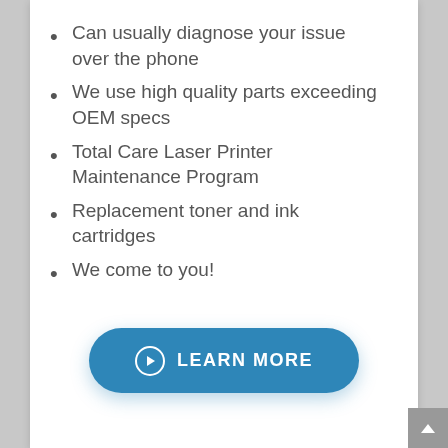Can usually diagnose your issue over the phone
We use high quality parts exceeding OEM specs
Total Care Laser Printer Maintenance Program
Replacement toner and ink cartridges
We come to you!
LEARN MORE